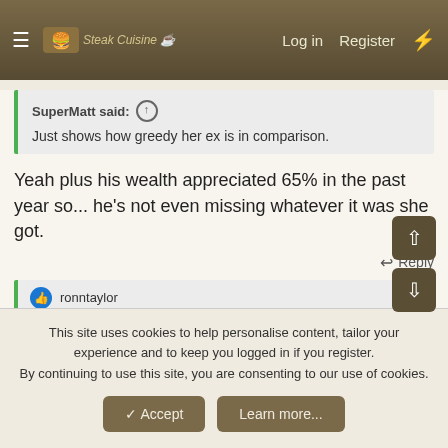Navigation bar with hamburger menu, logo, Log in, Register, lightning icon
SuperMatt said: ↑
Just shows how greedy her ex is in comparison.
Yeah plus his wealth appreciated 65% in the past year so... he's not even missing whatever it was she got.
Reply
ronntaylor
Gutwrench
Site Champ
This site uses cookies to help personalise content, tailor your experience and to keep you logged in if you register.
By continuing to use this site, you are consenting to our use of cookies.
Accept
Learn more...